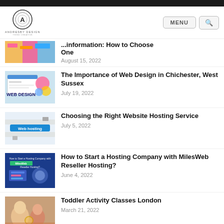Andresby Design
[Figure (screenshot): Partially visible blog post thumbnail - colorful design related image]
...information: How to Choose One
August 15, 2022
[Figure (screenshot): Web Design thumbnail with colorful letters and decorations]
The Importance of Web Design in Chichester, West Sussex
July 19, 2022
[Figure (screenshot): Web Hosting keyboard button close-up photo]
Choosing the Right Website Hosting Service
July 5, 2022
[Figure (screenshot): How to Start a Hosting Company with MilesWeb Reseller Hosting banner]
How to Start a Hosting Company with MilesWeb Reseller Hosting?
June 4, 2022
[Figure (photo): Toddler activity classes photo with babies and adults]
Toddler Activity Classes London
March 21, 2022
[Figure (screenshot): Partially visible thumbnail for another post]